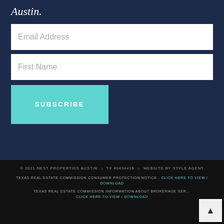Austin.
Email Address
First Name
SUBSCRIBE
© 2021 NEST PROPERTIES AUSTIN  TX #0494419  WEBSITE BY STYLE AGENT
TEXAS REAL ESTATE COMMISSION CONSUMER PROTECTION NOTICE - CLICK HERE TO VIEW / DOWNLOAD
TEXAS REAL ESTATE COMMISSION INFORMATION ABOUT BROKERAGE SERVICES - CLICK HERE TO VIEW / DOWNLOAD